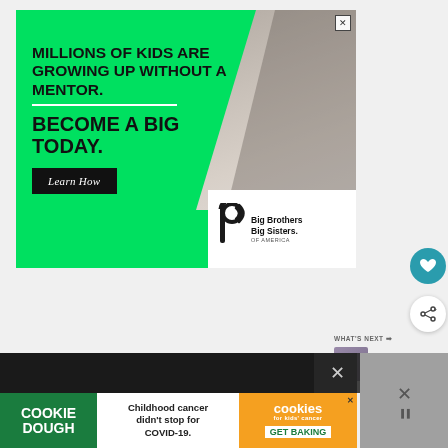[Figure (infographic): Big Brothers Big Sisters of America advertisement. Green background with text 'MILLIONS OF KIDS ARE GROWING UP WITHOUT A MENTOR. BECOME A BIG TODAY.' with a black 'Learn How' button and the BBBS logo in white box. Photo of adult and child working together in upper right.]
[Figure (infographic): Cookie Dough / Cookies for Kids Cancer advertisement at bottom. Green left panel with 'COOKIE DOUGH', center white panel with 'Childhood cancer didn't stop for COVID-19.', orange right panel with cookies logo and 'GET BAKING'.]